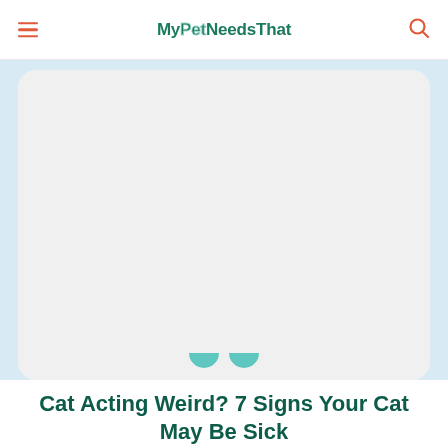MyPetNeedsThat
[Figure (photo): Placeholder image area for a cat photo inside a rounded card on a light blue background, with teal eye-shaped decorations at the bottom]
Cat Acting Weird? 7 Signs Your Cat May Be Sick